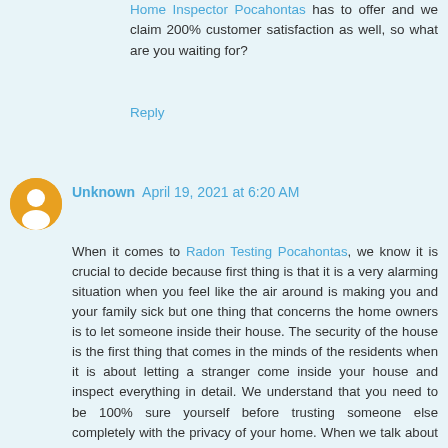Home Inspector Pocahontas has to offer and we claim 200% customer satisfaction as well, so what are you waiting for?
Reply
Unknown  April 19, 2021 at 6:20 AM
When it comes to Radon Testing Pocahontas, we know it is crucial to decide because first thing is that it is a very alarming situation when you feel like the air around is making you and your family sick but one thing that concerns the home owners is to let someone inside their house. The security of the house is the first thing that comes in the minds of the residents when it is about letting a stranger come inside your house and inspect everything in detail. We understand that you need to be 100% sure yourself before trusting someone else completely with the privacy of your home. When we talk about a trusted Home inspector Pocahontas IL, Hawley tops the list with their multiple certifications from InterNACHI, CRT, ASHI and BBB. They have the best professionals certified by the state and with great positive reviews and are rated A+ by